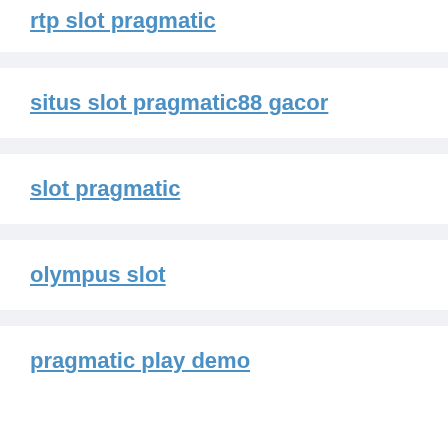rtp slot pragmatic
situs slot pragmatic88 gacor
slot pragmatic
olympus slot
pragmatic play demo